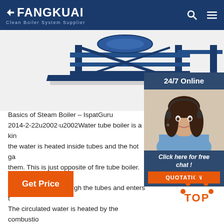FANGKUAI Clean Boiler System Supplier
[Figure (photo): Industrial blue water tube boiler equipment photographed from the side/top, showing structural framework in dark blue/navy color]
[Figure (photo): 24/7 Online customer service agent - woman with headset smiling, sidebar widget with 'Click here for free chat!' and QUOTATION button]
Basics of Steam Boiler – IspatGuru 2014-2-22u2002·u2002Water tube boiler is a kind the water is heated inside tubes and the hot ga them. This is just opposite of fire tube boiler. In feed water flows through the tubes and enters t The circulated water is heated by the combustio converted into steam at the vapour space in the ...
Get Price